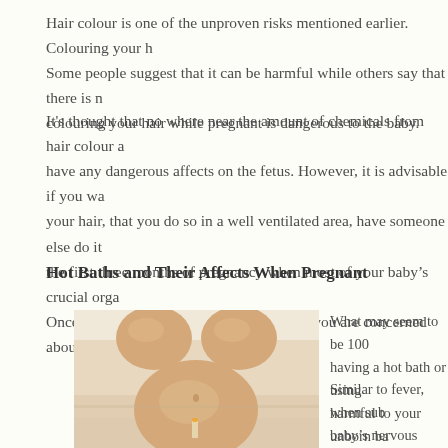Hair colour is one of the unproven risks mentioned earlier. Colouring your h... Some people suggest that it can be harmful while others say that there is n... colouring your hair while pregnant is dangerous to the baby.
It's thought that no where near the amount of chemicals from hair colour a... have any dangerous affects on the fetus. However, it is advisable if you wa... your hair, that you do so in a well ventilated area, have someone else do it... the first three months of pregnancy when most of your baby's crucial orga... Once again there are natural alternatives if you are concerned about harmi...
Hot Baths and Their Affects When Pregnant
[Figure (photo): Pregnant woman's belly visible while lying in a bathtub filled with water, viewed from above.]
What may seem to be 100... having a hot bath or using... harmful to your unborn ba...
Similar to fever, when sub... baby's nervous system ca... abnormalities. Remember... regulate their own body te...